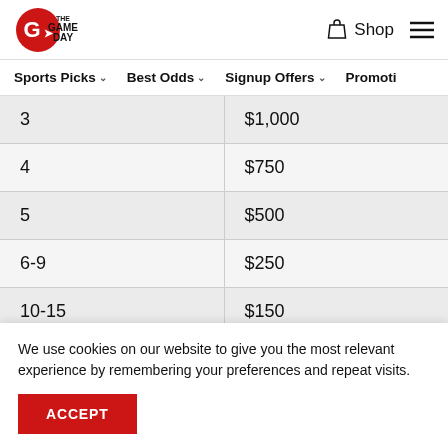The Game Day — Shop, Sports Picks, Best Odds, Signup Offers, Promotions navigation
|  |  |
| --- | --- |
| 3 | $1,000 |
| 4 | $750 |
| 5 | $500 |
| 6-9 | $250 |
| 10-15 | $150 |
| 16-30 | $100 |
We use cookies on our website to give you the most relevant experience by remembering your preferences and repeat visits.
ACCEPT